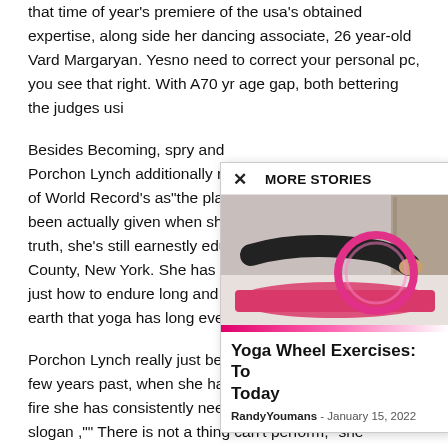that time of year's premiere of the usa's obtained expertise, along side her dancing associate, 26 year-old Vard Margaryan. Yesno need to correct your personal pc, you see that right. With A70 yr age gap, both bettering the judges usi…
Besides Becoming, spry and … Porchon Lynch additionally re… of World Record's as"the pla… been actually given when she… truth, she's still earnestly edu… County, New York. She has a… just how to endure long and j… earth that yoga has long ever…
Porchon Lynch really just beg… few years past, when she ha… fire she has consistently nee… slogan ,"" There is not a thing can't perform," she undoubtedly practices what she preaches. She has also experienced her palms at
[Figure (photo): Popup overlay showing a yoga wheel exercise image: a person in black sportswear holding a pink yoga wheel on a pink yoga mat]
Yoga Wheel Exercises: To Today
RandyYoumans - January 15, 2022